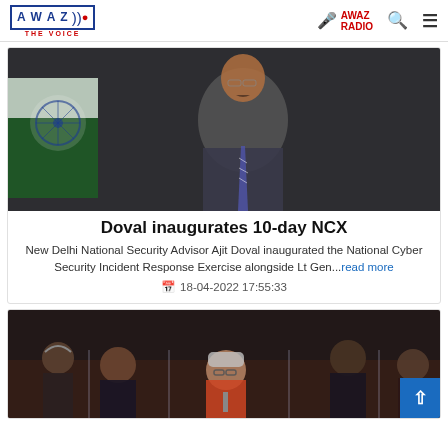AWAZ THE VOICE — AWAZ RADIO
[Figure (photo): Photo of a man in a suit with Indian flag in background, likely Ajit Doval]
Doval inaugurates 10-day NCX
New Delhi National Security Advisor Ajit Doval inaugurated the National Cyber Security Incident Response Exercise alongside Lt Gen...read more
18-04-2022 17:55:33
[Figure (photo): Photo of people at what appears to be a parliamentary or official session, woman with glasses speaking at a podium]